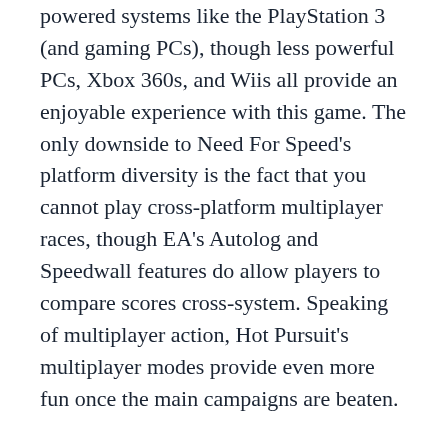powered systems like the PlayStation 3 (and gaming PCs), though less powerful PCs, Xbox 360s, and Wiis all provide an enjoyable experience with this game. The only downside to Need For Speed's platform diversity is the fact that you cannot play cross-platform multiplayer races, though EA's Autolog and Speedwall features do allow players to compare scores cross-system. Speaking of multiplayer action, Hot Pursuit's multiplayer modes provide even more fun once the main campaigns are beaten.
EA and Criterion Games, makers of the Burnout franchise, have a winner on their hands with Hot Pursuit, assuming you are looking for a worthy successor to the NFS franchise's Most Wanted, Carbon, and Undercover titles. For those craving a more realistic racing experience, Gran Tourismo